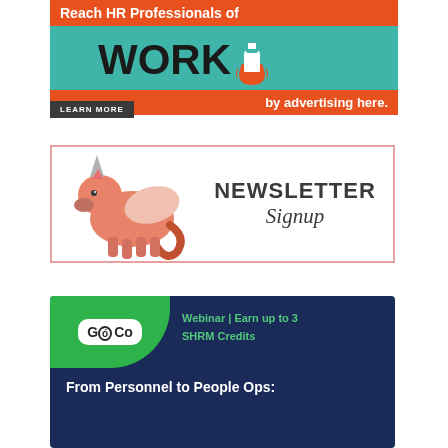[Figure (illustration): Workology advertisement banner: orange strip reading 'Reach HR Professionals of', teal middle section with Workology logo (flask icon), orange bottom strip reading 'by advertising here.', dark 'LEARN MORE' button]
[Figure (illustration): Newsletter Signup banner with a pink winged unicorn on the left and bold text 'NEWSLETTER Signup' on the right, inside a pink-bordered white box]
[Figure (illustration): GoCo webinar advertisement: dark navy background, green circle section with GoCo logo, green text 'Webinar | Earn up to 3 SHRM Credits', white bold text 'From Personnel to People Ops:']